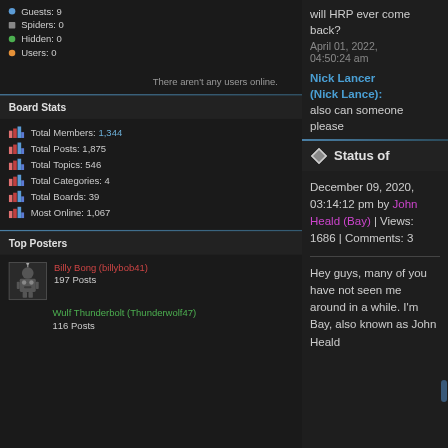Guests: 9
Spiders: 0
Hidden: 0
Users: 0
There aren't any users online.
Board Stats
Total Members: 1,344
Total Posts: 1,875
Total Topics: 546
Total Categories: 4
Total Boards: 39
Most Online: 1,067
Top Posters
Billy Bong (billybob41) 197 Posts
Wulf Thunderbolt (Thunderwolf47) 116 Posts
will HRP ever come back?
April 01, 2022, 04:50:24 am
Nick Lancer (Nick Lance): also can someone please
Status of
December 09, 2020, 03:14:12 pm by John Heald (Bay) | Views: 1686 | Comments: 3
Hey guys, many of you have not seen me around in a while. I'm Bay, also known as John Heald